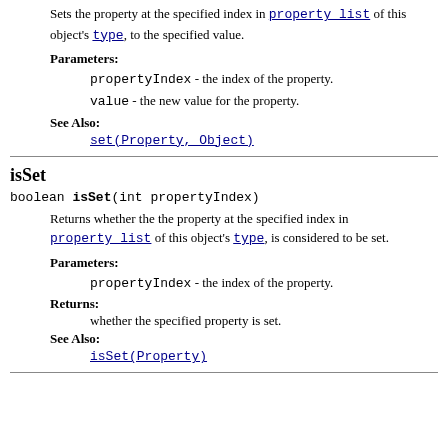Sets the property at the specified index in property_list of this object's type, to the specified value.
Parameters:
propertyIndex - the index of the property.
value - the new value for the property.
See Also:
set(Property, Object)
isSet
boolean isSet(int propertyIndex)
Returns whether the the property at the specified index in property_list of this object's type, is considered to be set.
Parameters:
propertyIndex - the index of the property.
Returns:
whether the specified property is set.
See Also:
isSet(Property)